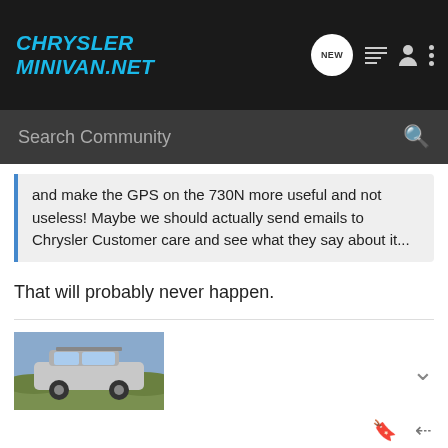CHRYSLER MINIVAN.NET
Search Community
and make the GPS on the 730N more useful and not useless! Maybe we should actually send emails to Chrysler Customer care and see what they say about it...
That will probably never happen.
[Figure (photo): Photo of a Jeep Cherokee / SUV outdoors in a field]
BenJF3 · Registered
Joined Oct 11, 2012 · 61 Posts